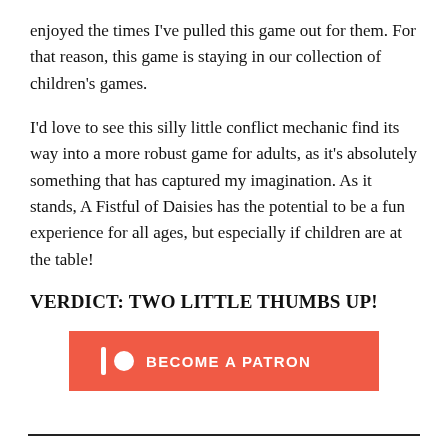enjoyed the times I've pulled this game out for them. For that reason, this game is staying in our collection of children's games.
I'd love to see this silly little conflict mechanic find its way into a more robust game for adults, as it's absolutely something that has captured my imagination. As it stands, A Fistful of Daisies has the potential to be a fun experience for all ages, but especially if children are at the table!
VERDICT: TWO LITTLE THUMBS UP!
[Figure (other): Patreon 'Become a Patron' button with red/salmon background, Patreon logo (vertical bar and circle) on the left, bold white text reading 'BECOME A PATRON']